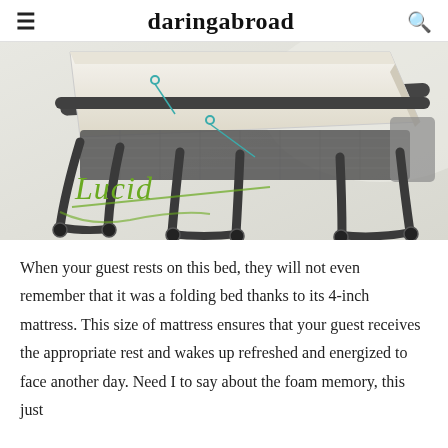daringabroad
[Figure (photo): Product photo of a Lucid brand folding bed with a foam mattress partially rolled back, showing the dark metal frame with wheels and a mesh support platform. The Lucid brand name is written in green cursive script in the lower left.]
When your guest rests on this bed, they will not even remember that it was a folding bed thanks to its 4-inch mattress. This size of mattress ensures that your guest receives the appropriate rest and wakes up refreshed and energized to face another day. Need I to say about the foam memory, this just